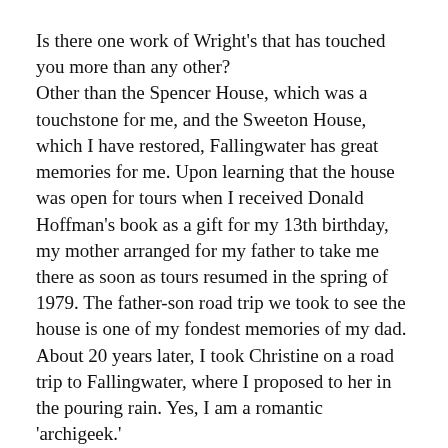Is there one work of Wright's that has touched you more than any other?
Other than the Spencer House, which was a touchstone for me, and the Sweeton House, which I have restored, Fallingwater has great memories for me. Upon learning that the house was open for tours when I received Donald Hoffman's book as a gift for my 13th birthday, my mother arranged for my father to take me there as soon as tours resumed in the spring of 1979. The father-son road trip we took to see the house is one of my fondest memories of my dad. About 20 years later, I took Christine on a road trip to Fallingwater, where I proposed to her in the pouring rain. Yes, I am a romantic 'archigeek.'
What's the most rewarding thing you've been a part of as a member of the Conservancy?